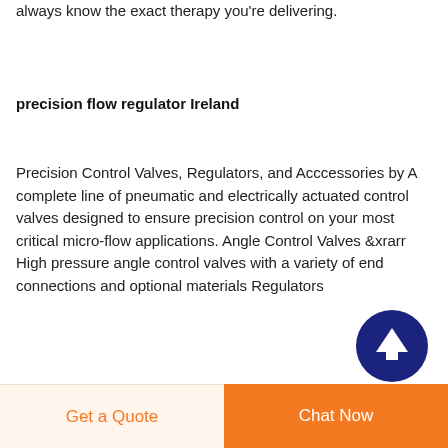always know the exact therapy you're delivering.
precision flow regulator Ireland
Precision Control Valves, Regulators, and Acccessories by A complete line of pneumatic and electrically actuated control valves designed to ensure precision control on your most critical micro-flow applications. Angle Control Valves &xrarr High pressure angle control valves with a variety of end connections and optional materials Regulators
[Figure (other): Dark navy blue circular button with white upward arrow icon for scrolling to top]
Get a Quote
Chat Now